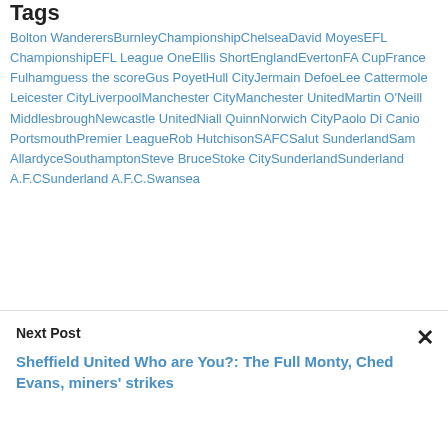Tags
Bolton Wanderers Burnley Championship Chelsea David Moyes EFL Championship EFL League One Ellis Short England Everton FA Cup France Fulham guess the score Gus Poyet Hull City Jermain Defoe Lee Cattermole Leicester City Liverpool Manchester City Manchester United Martin O'Neill Middlesbrough Newcastle United Niall Quinn Norwich City Paolo Di Canio Portsmouth Premier League Rob Hutchison SAFC Salut Sunderland Sam Allardyce Southampton Steve Bruce Stoke City Sunderland Sunderland A.F.C Sunderland A.F.C. Swansea
Next Post
Sheffield United Who are You?: The Full Monty, Ched Evans, miners' strikes